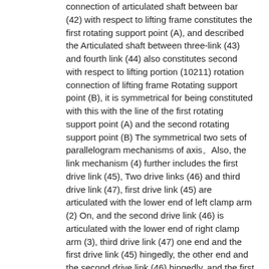connection of articulated shaft between bar (42) with respect to lifting frame constitutes the first rotating support point (A), and described the Articulated shaft between three-link (43) and fourth link (44) also constitutes second with respect to lifting portion (10211) rotation connection of lifting frame Rotating support point (B), it is symmetrical for being constituted with this with the line of the first rotating support point (A) and the second rotating support point (B) The symmetrical two sets of parallelogram mechanisms of axis。Also, the link mechanism (4) further includes the first drive link (45), Two drive links (46) and third drive link (47), first drive link (45) are articulated with the lower end of left clamp arm (2) On, and the second drive link (46) is articulated with the lower end of right clamp arm (3), third drive link (47) one end and the first drive link (45) hingedly, the other end and the second drive link (46) hingedly, and the first drive link (45), the second drive link (46) and Three drive links (47) are using the line of the first rotating support point (A) and the second rotating support point (B) as symmetry axis or so Symmetrically。There is clamping jaw driving device (5) effect on the third drive link (47), clamping jaw driving device (5) drives third driving Connecting rod (47) is moved